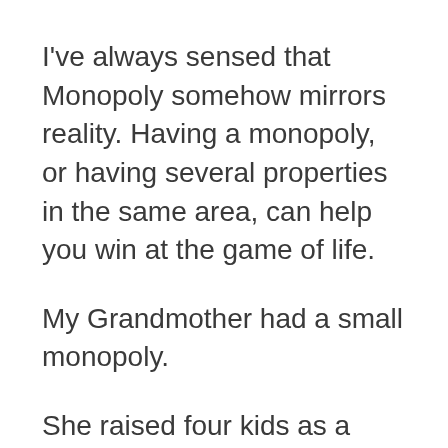I've always sensed that Monopoly somehow mirrors reality. Having a monopoly, or having several properties in the same area, can help you win at the game of life.
My Grandmother had a small monopoly.
She raised four kids as a single mom. She did something extremely smart that everybody